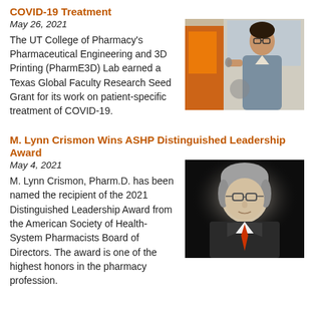COVID-19 Treatment
May 26, 2021
The UT College of Pharmacy’s Pharmaceutical Engineering and 3D Printing (PharmE3D) Lab earned a Texas Global Faculty Research Seed Grant for its work on patient-specific treatment of COVID-19.
[Figure (photo): Researcher holding a small object in a laboratory setting with orange/industrial equipment in background]
M. Lynn Crismon Wins ASHP Distinguished Leadership Award
May 4, 2021
M. Lynn Crismon, Pharm.D. has been named the recipient of the 2021 Distinguished Leadership Award from the American Society of Health-System Pharmacists Board of Directors. The award is one of the highest honors in the pharmacy profession.
[Figure (photo): Portrait of M. Lynn Crismon, older man with grey hair wearing a suit and tie, against a dark background]